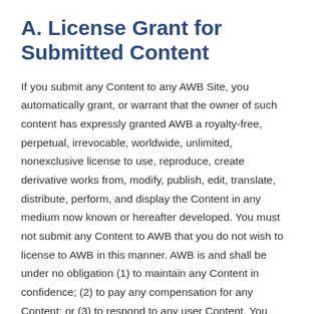A. License Grant for Submitted Content
If you submit any Content to any AWB Site, you automatically grant, or warrant that the owner of such content has expressly granted AWB a royalty-free, perpetual, irrevocable, worldwide, unlimited, nonexclusive license to use, reproduce, create derivative works from, modify, publish, edit, translate, distribute, perform, and display the Content in any medium now known or hereafter developed. You must not submit any Content to AWB that you do not wish to license to AWB in this manner. AWB is and shall be under no obligation (1) to maintain any Content in confidence; (2) to pay any compensation for any Content; or (3) to respond to any user Content. You grant AWB the right to use the name that you submit in connection with any Content.